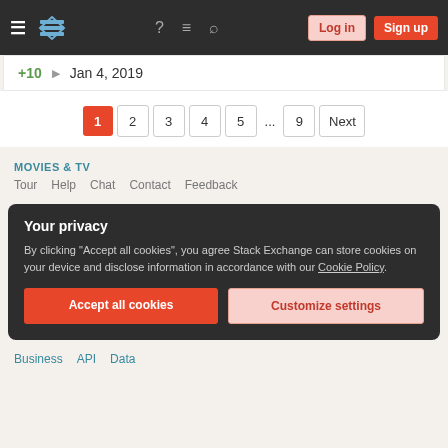Stack Exchange navigation header with hamburger menu, logo, help, chat, search, Log in, Sign up
+10 ▶ Jan 4, 2019
Pagination: 1 (active) 2 3 4 5 ... 9 Next
MOVIES & TV
Tour Help Chat Contact Feedback
Your privacy
By clicking "Accept all cookies", you agree Stack Exchange can store cookies on your device and disclose information in accordance with our Cookie Policy.
Accept all cookies
Customize settings
Business API Data